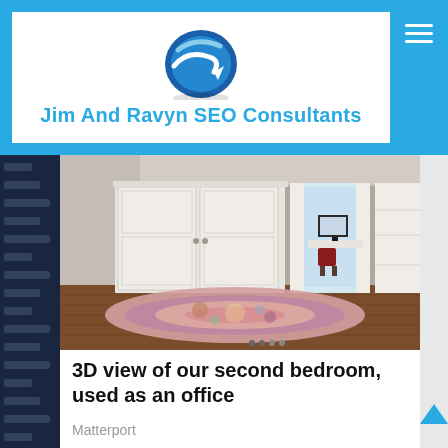Jim And Ravyn SEO Consultants
[Figure (photo): 3D view of a bedroom used as an office, showing white double closet doors, hardwood floors, a colorful floral rug, a desk with a computer near a window with curtains, and a bookshelf on the right.]
3D view of our second bedroom, used as an office
Matterport
While we felt very hopeful that morning, the